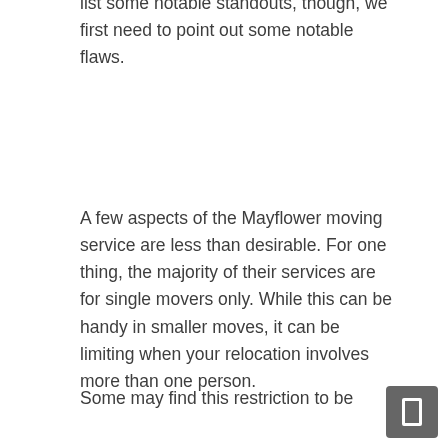list some notable standouts, though, we first need to point out some notable flaws.
A few aspects of the Mayflower moving service are less than desirable. For one thing, the majority of their services are for single movers only. While this can be handy in smaller moves, it can be limiting when your relocation involves more than one person.
Some may find this restriction to be